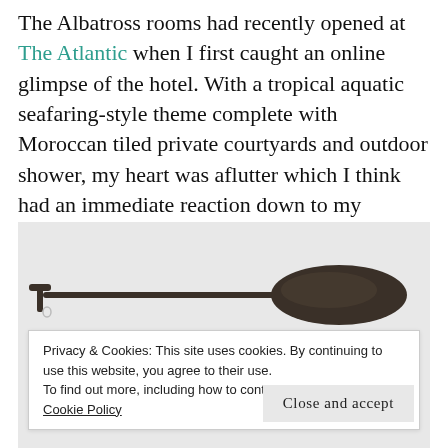The Albatross rooms had recently opened at The Atlantic when I first caught an online glimpse of the hotel. With a tropical aquatic seafaring-style theme complete with Moroccan tiled private courtyards and outdoor shower, my heart was aflutter which I think had an immediate reaction down to my keyboard finger because I booked right away.
[Figure (photo): A dark wooden paddle or oar with a long thin handle and a wide oval blade, photographed against a light grey background.]
Privacy & Cookies: This site uses cookies. By continuing to use this website, you agree to their use.
To find out more, including how to control cookies, see here:
Cookie Policy
Close and accept